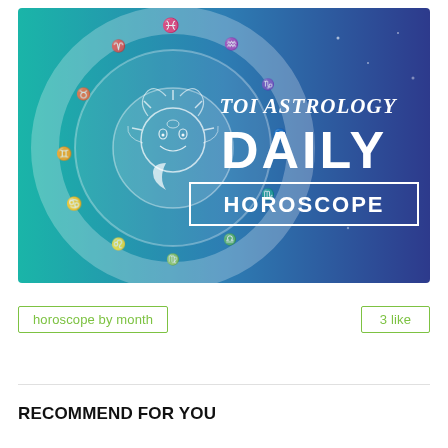[Figure (illustration): TOI Astrology Daily Horoscope banner image. Left side shows a teal/turquoise circular zodiac wheel with white line-art zodiac symbols and a sun/moon face in the center, against a teal-to-purple gradient background. Right side shows white bold text: 'TOI ASTROLOGY' above, then large bold 'DAILY', then 'HOROSCOPE' in a white-outlined rectangle on dark blue/purple background.]
horoscope by month
3 like
RECOMMEND FOR YOU